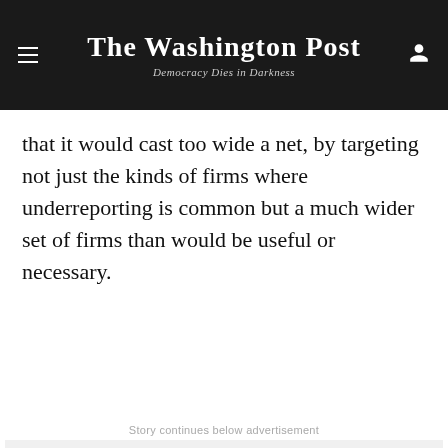The Washington Post
Democracy Dies in Darkness
that it would cast too wide a net, by targeting not just the kinds of firms where underreporting is common but a much wider set of firms than would be useful or necessary.
Story continues below advertisement